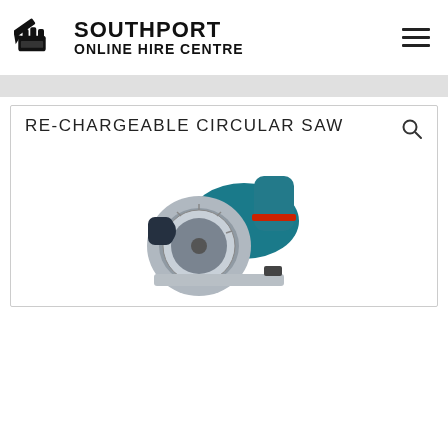[Figure (logo): Southport Online Hire Centre logo with tool icon and text]
RE-CHARGEABLE CIRCULAR SAW
[Figure (photo): Photo of a rechargeable cordless circular saw in teal/blue and silver color]